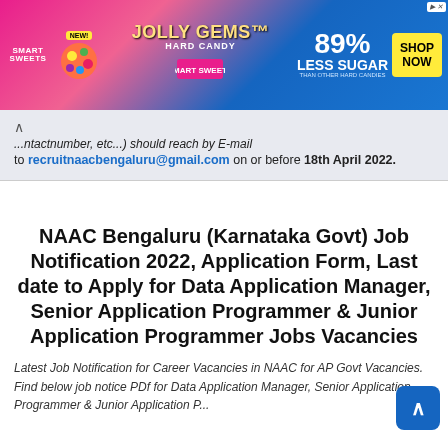[Figure (other): Smart Sweets Jolly Gems Hard Candy advertisement banner: colorful banner with '89% Less Sugar than other hard candies', 'NEW!' badge, 'JOLLY GEMS Hard Candy' text, SmartSweets branding, and 'SHOP NOW' yellow button.]
...ntactnumber, etc...) should reach by E-mail to recruitnaacbengaluru@gmail.com on or before 18th April 2022.
NAAC Bengaluru (Karnataka Govt) Job Notification 2022, Application Form, Last date to Apply for Data Application Manager, Senior Application Programmer & Junior Application Programmer Jobs Vacancies
Latest Job Notification for Career Vacancies in NAAC for AP Govt Vacancies. Find below job notice PDf for Data Application Manager, Senior Application Programmer & Junior Application P...